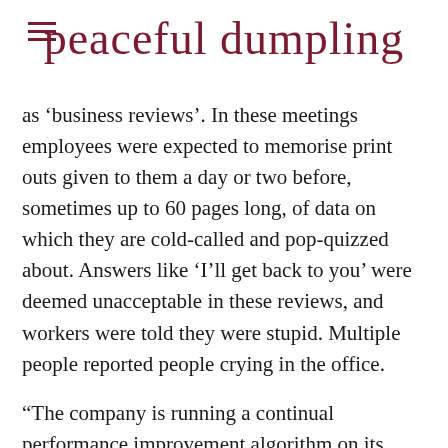peaceful dumpling
as ‘business reviews’. In these meetings employees were expected to memorise print outs given to them a day or two before, sometimes up to 60 pages long, of data on which they are cold-called and pop-quizzed about. Answers like ‘I’ll get back to you’ were deemed unacceptable in these reviews, and workers were told they were stupid. Multiple people reported people crying in the office.
“The company is running a continual performance improvement algorithm on its staff,” said Amy Michaels, a former Kindle marketer.